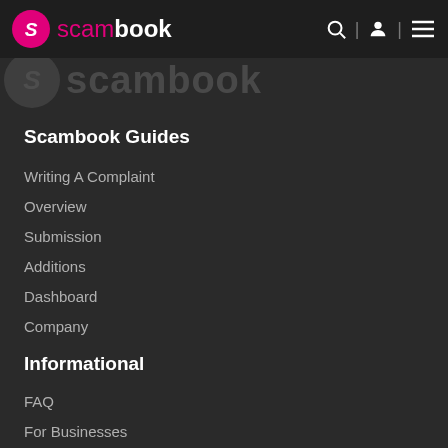scambook navigation header with logo, search, user, and menu icons
Scambook Guides
Writing A Complaint
Overview
Submission
Additions
Dashboard
Company
Informational
FAQ
For Businesses
Testimonials
About Us
Contact Us